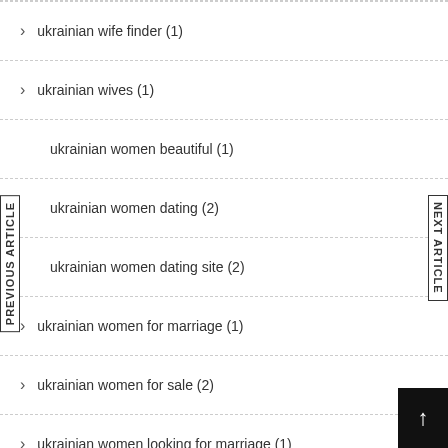ukrainian wife finder (1)
ukrainian wives (1)
ukrainian women beautiful (1)
ukrainian women dating (2)
ukrainian women dating site (2)
ukrainian women for marriage (1)
ukrainian women for sale (2)
ukrainian women looking for marriage (1)